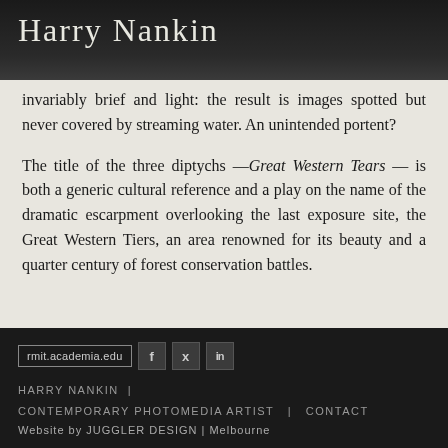Harry Nankin
invariably brief and light: the result is images spotted but never covered by streaming water. An unintended portent?
The title of the three diptychs —Great Western Tears — is both a generic cultural reference and a play on the name of the dramatic escarpment overlooking the last exposure site, the Great Western Tiers, an area renowned for its beauty and a quarter century of forest conservation battles.
rmit.academia.edu | f | twitter | in | HARRY NANKIN | CONTEMPORARY PHOTOMEDIA ARTIST | CONTACT | Website by JUGGLER DESIGN | Melbourne